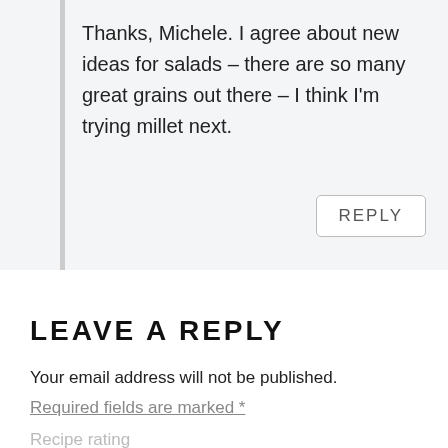Thanks, Michele. I agree about new ideas for salads – there are so many great grains out there – I think I'm trying millet next.
REPLY
LEAVE A REPLY
Your email address will not be published.
Required fields are marked *
Recipe rating